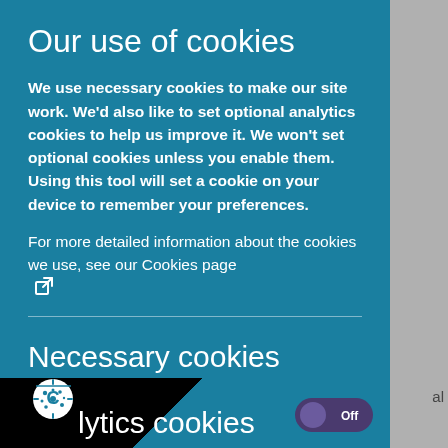Our use of cookies
We use necessary cookies to make our site work. We'd also like to set optional analytics cookies to help us improve it. We won't set optional cookies unless you enable them. Using this tool will set a cookie on your device to remember your preferences.
For more detailed information about the cookies we use, see our Cookies page [external link icon]
Necessary cookies
Necessary cookies enable core functionality such as security, network management, and accessibility. You may disable these by changing your browser settings, but this may affect how the website functions.
lytics cookies
[Figure (screenshot): Toggle switch in Off position (purple/dark)]